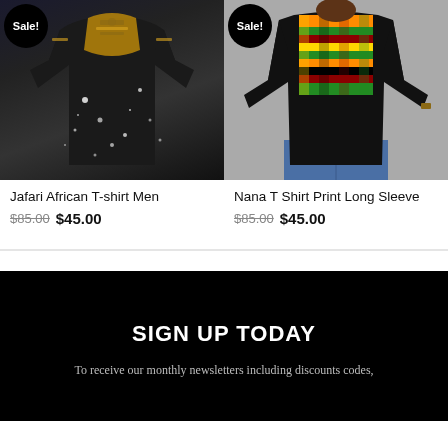[Figure (photo): Jafari African T-shirt Men product photo on dark background with white splatter pattern and gold dashiki print, Sale badge in top-left corner]
Jafari African T-shirt Men
$85.00  $45.00
[Figure (photo): Nana T Shirt Print Long Sleeve product photo showing back of black long-sleeve shirt with kente cloth pattern in green, orange, red, yellow on gray background, Sale badge in top-left corner]
Nana T Shirt Print Long Sleeve
$85.00  $45.00
SIGN UP TODAY
To receive our monthly newsletters including discounts codes,